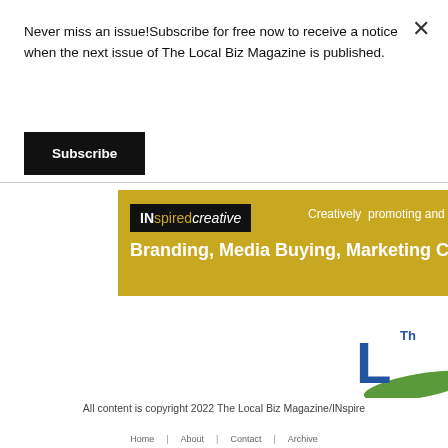Never miss an issue!Subscribe for free now to receive a notice when the next issue of The Local Biz Magazine is published.
Subscribe
[Figure (logo): INspiredcreative logo on black background with tagline 'Creatively promoting and marke...' on golden background, and headline 'Branding, Media Buying, Marketing Consu...']
[Figure (logo): The Local Biz Magazine partial logo visible at bottom right]
All content is copyright 2022 The Local Biz Magazine/INspire...